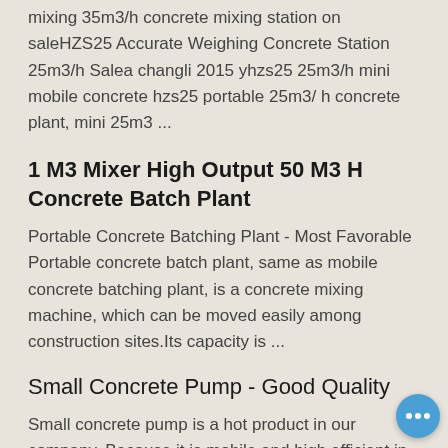mixing 35m3/h concrete mixing station on saleHZS25 Accurate Weighing Concrete Station 25m3/h Salea changli 2015 yhzs25 25m3/h mini mobile concrete hzs25 portable 25m3/ h concrete plant, mini 25m3 ...
1 M3 Mixer High Output 50 M3 H Concrete Batch Plant
Portable Concrete Batching Plant - Most Favorable Portable concrete batch plant, same as mobile concrete batching plant, is a concrete mixing machine, which can be moved easily among construction sites.Its capacity is ...
Small Concrete Pump - Good Quality
Small concrete pump is a hot product in our company. Because it is mobile and high efficient in construction sites. Although s Hey, we are live 24/7. How may I help you? w smaller capacity than other concrete pumps, it still acu